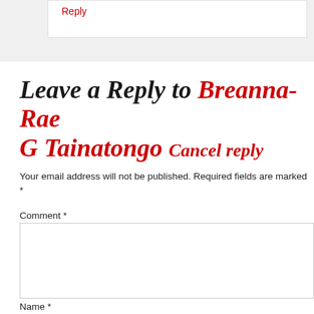Reply
Leave a Reply to Breanna-Rae G Tainatongo Cancel reply
Your email address will not be published. Required fields are marked *
Comment *
Name *